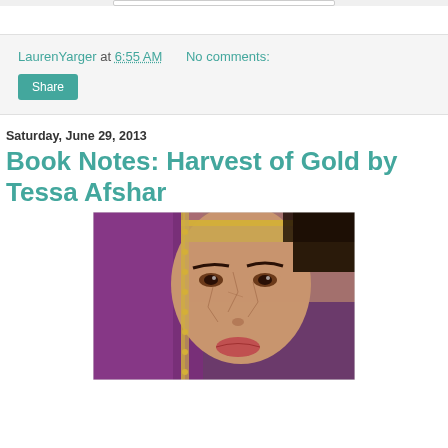LaurenYarger at 6:55 AM   No comments:
Share
Saturday, June 29, 2013
Book Notes: Harvest of Gold by Tessa Afshar
[Figure (photo): Book cover of Harvest of Gold by Tessa Afshar showing a close-up of a woman's face wearing a purple veil and gold headpiece, with cracked skin texture effect]